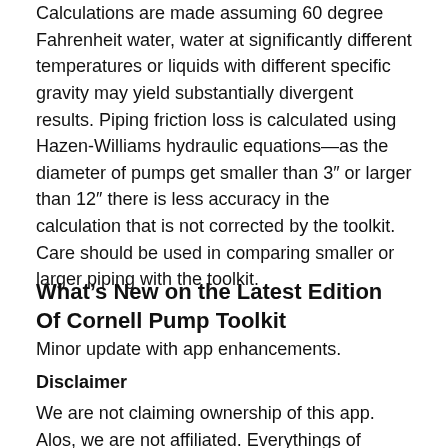Calculations are made assuming 60 degree Fahrenheit water, water at significantly different temperatures or liquids with different specific gravity may yield substantially divergent results. Piping friction loss is calculated using Hazen-Williams hydraulic equations—as the diameter of pumps get smaller than 3" or larger than 12" there is less accuracy in the calculation that is not corrected by the toolkit. Care should be used in comparing smaller or larger piping with the toolkit.
What's New on the Latest Edition Of Cornell Pump Toolkit
Minor update with app enhancements.
Disclaimer
We are not claiming ownership of this app. Alos, we are not affiliated. Everythings of Cornell Pump Toolkit app like SS, logo and trademarks etc are not our property
We are not affiliated or related of Cornell Pump Toolkit...